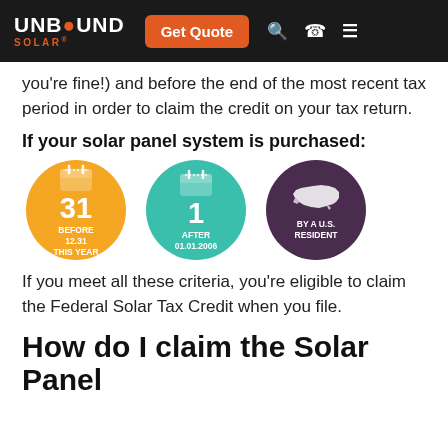UNBOUND SOLAR® | Get Quote
you're fine!) and before the end of the most recent tax period in order to claim the credit on your tax return.
If your solar panel system is purchased:
[Figure (infographic): Three circular icons: 1) Yellow circle with calendar showing 31, text 'BEFORE 12.31 THIS YEAR'; 2) Teal circle with calendar showing 1, text 'AFTER 01.01.2006'; 3) Purple circle with USA map shape, text 'BY A U.S. RESIDENT']
If you meet all these criteria, you're eligible to claim the Federal Solar Tax Credit when you file.
How do I claim the Solar Panel